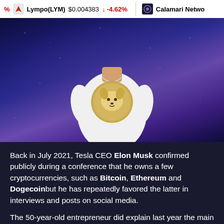% Lympo(LYM) $0.004383 ↓ -4.62% | Calamari Netwo
[Figure (photo): Person wearing a white t-shirt with a Dogecoin logo on it, standing against a space/galaxy background with stars and nebula. The person's head is cropped out.]
Back in July 2021, Tesla CEO Elon Musk confirmed publicly during a conference that he owns a few cryptocurrencies, such as Bitcoin, Ethereum and Dogecoinbut he has repeatedly favored the latter in interviews and posts on social media.
The 50-year-old entrepreneur did explain last year the main reason behind his decision to support Dogecoin after repeatedly mentioning in the past that he collaborated with